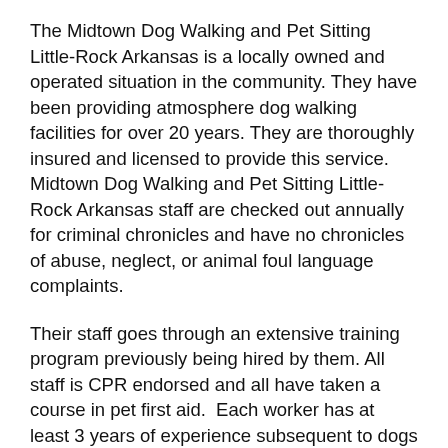The Midtown Dog Walking and Pet Sitting Little-Rock Arkansas is a locally owned and operated situation in the community. They have been providing atmosphere dog walking facilities for over 20 years. They are thoroughly insured and licensed to provide this service. Midtown Dog Walking and Pet Sitting Little-Rock Arkansas staff are checked out annually for criminal chronicles and have no chronicles of abuse, neglect, or animal foul language complaints.
Their staff goes through an extensive training program previously being hired by them. All staff is CPR endorsed and all have taken a course in pet first aid.  Each worker has at least 3 years of experience subsequent to dogs and is au fait with common dog breeds and their tricks patterns. They in addition to know how to handle aggressive dogs